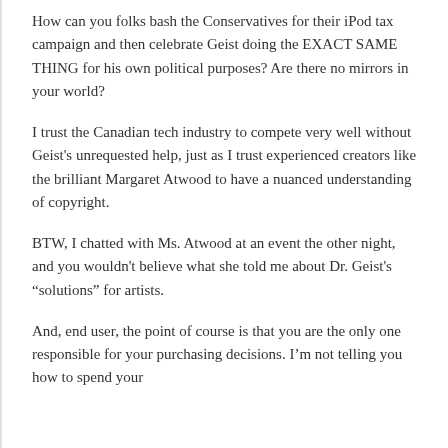How can you folks bash the Conservatives for their iPod tax campaign and then celebrate Geist doing the EXACT SAME THING for his own political purposes? Are there no mirrors in your world?
I trust the Canadian tech industry to compete very well without Geist's unrequested help, just as I trust experienced creators like the brilliant Margaret Atwood to have a nuanced understanding of copyright.
BTW, I chatted with Ms. Atwood at an event the other night, and you wouldn't believe what she told me about Dr. Geist's “solutions” for artists.
And, end user, the point of course is that you are the only one responsible for your purchasing decisions. I’m not telling you how to spend your